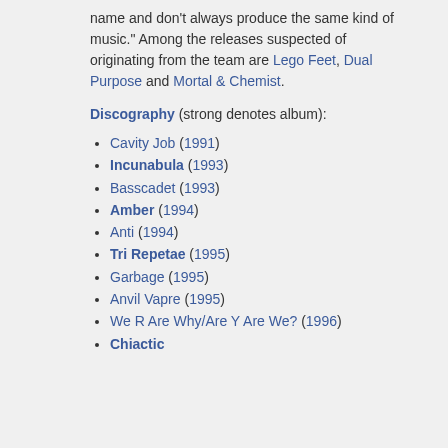name and don't always produce the same kind of music." Among the releases suspected of originating from the team are Lego Feet, Dual Purpose and Mortal & Chemist.
Discography (strong denotes album):
Cavity Job (1991)
Incunabula (1993)
Basscadet (1993)
Amber (1994)
Anti (1994)
Tri Repetae (1995)
Garbage (1995)
Anvil Vapre (1995)
We R Are Why/Are Y Are We? (1996)
Chiastic...